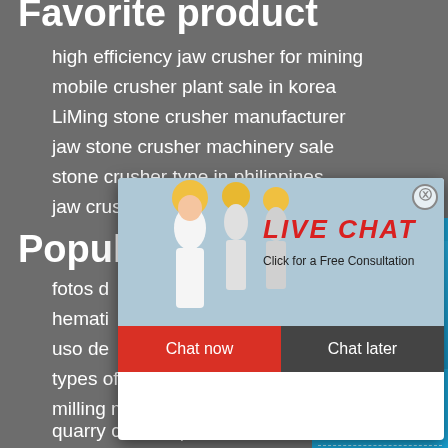Favorite product
high efficiency jaw crusher for mining
mobile crusher plant sale in korea
LiMing stone crusher manufacturer
jaw stone crusher machinery sale
stone crusher type in philippines
jaw crusher 20x36 capacity india
Popular
fotos d...
hemati...
uso de...
types of nanoparticles synthesized
milling method
quarry crusher plant sale in indones...
[Figure (screenshot): Live chat popup overlay with workers in hard hats background, LIVE CHAT red text, 'Click for a Free Consultation' subtitle, Chat now (red) and Chat later (dark) buttons, and close button]
[Figure (screenshot): Right sidebar with blue background showing: hour online text, crusher machine image, Click me to chat>> button, Enquiry heading, limingjlmofen text]